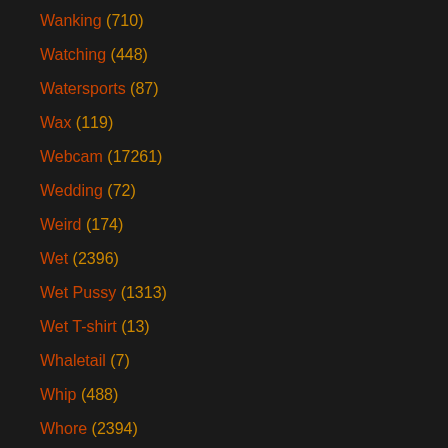Wanking (710)
Watching (448)
Watersports (87)
Wax (119)
Webcam (17261)
Wedding (72)
Weird (174)
Wet (2396)
Wet Pussy (1313)
Wet T-shirt (13)
Whaletail (7)
Whip (488)
Whore (2394)
Wife (14980)
Wife Anal (1598)
Wife Blowjob (2662)